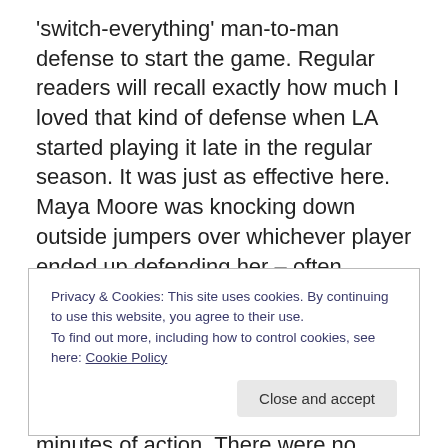'switch-everything' man-to-man defense to start the game. Regular readers will recall exactly how much I loved that kind of defense when LA started playing it late in the regular season. It was just as effective here. Maya Moore was knocking down outside jumpers over whichever player ended up defending her – often Temeka Johnson, after unnecessary switches. Seimone Augustus was joining in. Gaines picked up a technical foul for something he said as well, and the Lynx led 15-3 after four minutes of action. There were no breakout opportunities for Phoenix because they couldn't get any stops, or grab any
Privacy & Cookies: This site uses cookies. By continuing to use this website, you agree to their use.
To find out more, including how to control cookies, see here: Cookie Policy